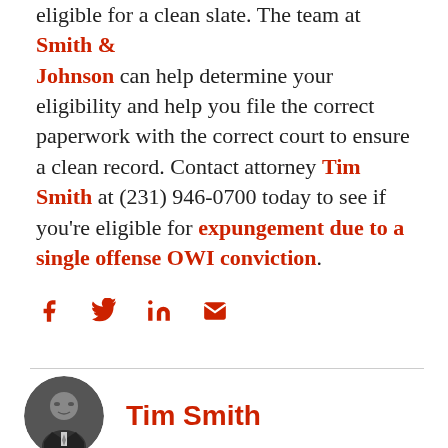eligible for a clean slate. The team at Smith & Johnson can help determine your eligibility and help you file the correct paperwork with the correct court to ensure a clean record. Contact attorney Tim Smith at (231) 946-0700 today to see if you're eligible for expungement due to a single offense OWI conviction.
[Figure (other): Social media share icons: Facebook, Twitter, LinkedIn, Email — all in red]
[Figure (photo): Circular headshot photo of Tim Smith, a man in a suit, grayscale/dark]
Tim Smith
Mr. Smith has practiced as a trial attorney since graduating Notre Dame Law School in 1992. He has litigated cases across the country including cases from Ventura County, California to